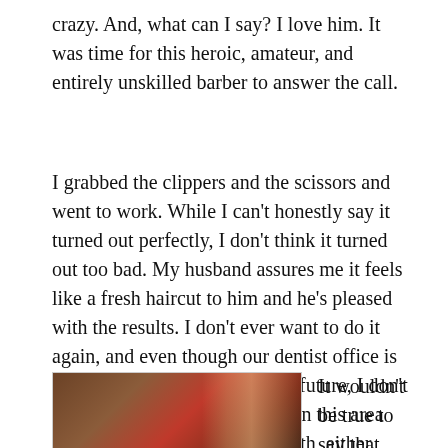crazy. And, what can I say? I love him. It was time for this heroic, amateur, and entirely unskilled barber to answer the call.
I grabbed the clippers and the scissors and went to work. While I can't honestly say it turned out perfectly, I don't think it turned out too bad. My husband assures me it feels like a fresh haircut to him and he's pleased with the results. I don't ever want to do it again, and even though our dentist office is also closed for the foreseeable future, I don't think my modicum of success in this area qualifies me to start pulling teeth, either.
[Figure (photo): A photograph showing what appears to be a reddish-brown background with a vertical light-colored stripe or reflection, possibly a mirror or door frame.]
It wouldn't be true to say that